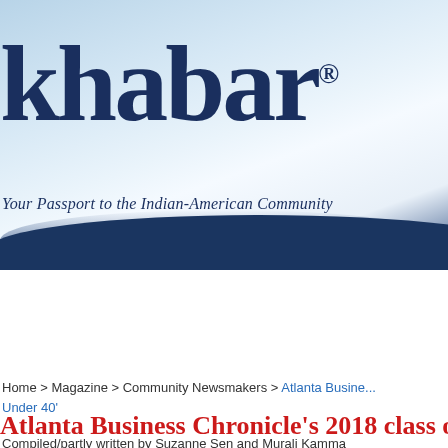[Figure (logo): Khabar magazine logo with tagline 'Your Passport to the Indian-American Community' on a blue gradient background with wave design]
HOME | MAGAZINE | COMMUNITY NEWS | EVENTS
COVID-19 In-depth info for I...
Home > Magazine > Community Newsmakers > Atlanta Busine... Under 40'
Atlanta Business Chronicle's 2018 class of '4...
Compiled/partly written by Suzanne Sen and Murali Kamma
January 2019